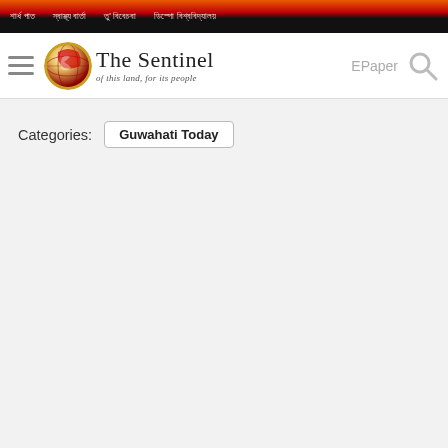nav links in Assamese/regional script
[Figure (logo): The Sentinel newspaper logo with red globe icon and text 'The Sentinel - of this land, for its people']
EPaper
Categories: Guwahati Today